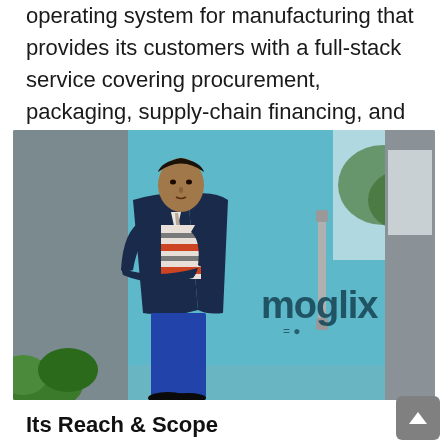operating system for manufacturing that provides its customers with a full-stack service covering procurement, packaging, supply-chain financing, and highly integrated software.
[Figure (photo): A man in a dark blazer and striped sweater standing in front of a teal glass wall with the 'moglix' logo on it. He is posing with arms crossed, with green plants visible on the left side of the frame.]
Its Reach & Scope